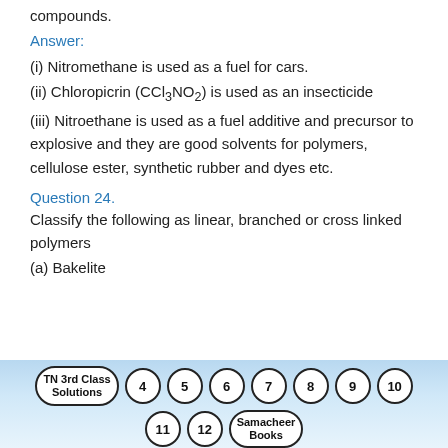compounds.
Answer:
(i) Nitromethane is used as a fuel for cars.
(ii) Chloropicrin (CCl3NO2) is used as an insecticide
(iii) Nitroethane is used as a fuel additive and precursor to explosive and they are good solvents for polymers, cellulose ester, synthetic rubber and dyes etc.
Question 24.
Classify the following as linear, branched or cross linked polymers
(a) Bakelite
[Figure (other): Navigation bar with page bubbles: TN 3rd Class Solutions, 4, 5, 6, 7, 8, 9, 10, 11, 12, Samacheer Books]